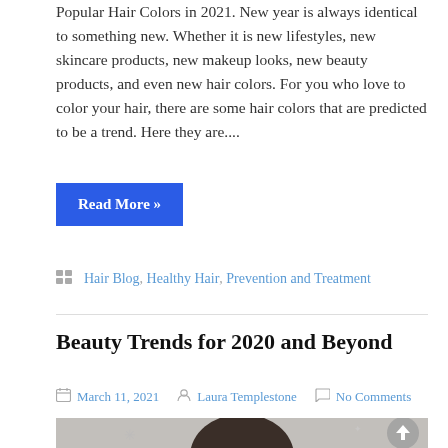Popular Hair Colors in 2021. New year is always identical to something new. Whether it is new lifestyles, new skincare products, new makeup looks, new beauty products, and even new hair colors. For you who love to color your hair, there are some hair colors that are predicted to be a trend. Here they are....
Read More »
Hair Blog, Healthy Hair, Prevention and Treatment
Beauty Trends for 2020 and Beyond
March 11, 2021  Laura Templestone  No Comments
[Figure (photo): Photo of a woman with dark brown hair, on a grey background with decorative sparkle/star illustrations. A scroll-to-top button (grey circle with upward arrow) is visible in the bottom right.]